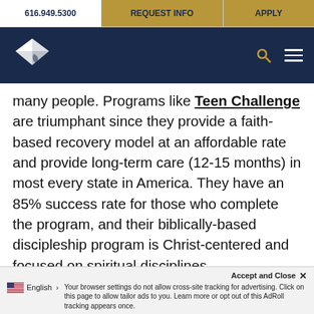616.949.5300 | REQUEST INFO | APPLY
[Figure (logo): White diamond/rhombus logo with leaf design on dark navy navigation bar with search and hamburger menu icons]
many people. Programs like Teen Challenge are triumphant since they provide a faith-based recovery model at an affordable rate and provide long-term care (12-15 months) in most every state in America. They have an 85% success rate for those who complete the program, and their biblically-based discipleship program is Christ-centered and focused on spiritual disciplines.
Accept and Close ✕ Your browser settings do not allow cross-site tracking for advertising. Click on this page to allow tailor ads to you. Learn more or opt out of this AdRoll tracking appears once. | English > | professionally trained as well.